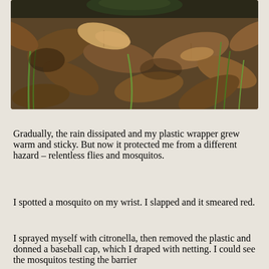[Figure (photo): Close-up photo of dried brown leaves on the ground with green grass shoots, and what appears to be a frog or toad camouflaged among the leaf litter.]
Gradually, the rain dissipated and my plastic wrapper grew warm and sticky. But now it protected me from a different hazard – relentless flies and mosquitos.
I spotted a mosquito on my wrist. I slapped and it smeared red.
I sprayed myself with citronella, then removed the plastic and donned a baseball cap, which I draped with netting. I could see the mosquitos testing the barrier